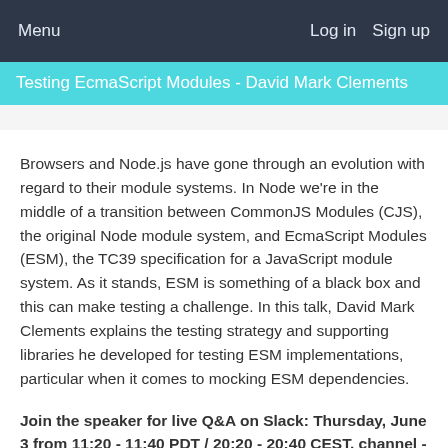Menu   Log in   Sign up
Testing EcmaScript Modules - David Mark Clements
Browsers and Node.js have gone through an evolution with regard to their module systems. In Node we're in the middle of a transition between CommonJS Modules (CJS), the original Node module system, and EcmaScript Modules (ESM), the TC39 specification for a JavaScript module system. As it stands, ESM is something of a black box and this can make testing a challenge. In this talk, David Mark Clements explains the testing strategy and supporting libraries he developed for testing ESM implementations, particular when it comes to mocking ESM dependencies.
Join the speaker for live Q&A on Slack: Thursday, June 3 from 11:20 - 11:40 PDT / 20:20 - 20:40 CEST, channel - #openjs_world-development